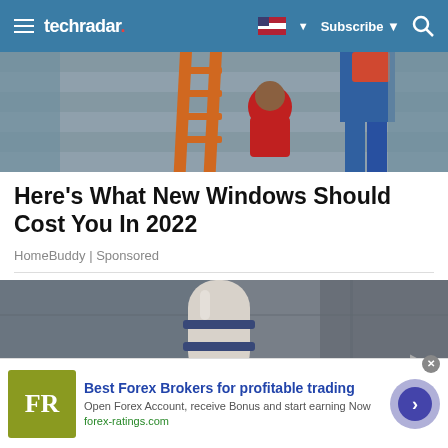techradar
[Figure (photo): People working on house exterior with orange ladder, one person in red shirt and another in jeans]
Here's What New Windows Should Cost You In 2022
HomeBuddy | Sponsored
[Figure (photo): Close-up of a white security camera mounted on wall or ceiling, with blue stripe details]
Best Forex Brokers for profitable trading
Open Forex Account, receive Bonus and start earning Now
forex-ratings.com